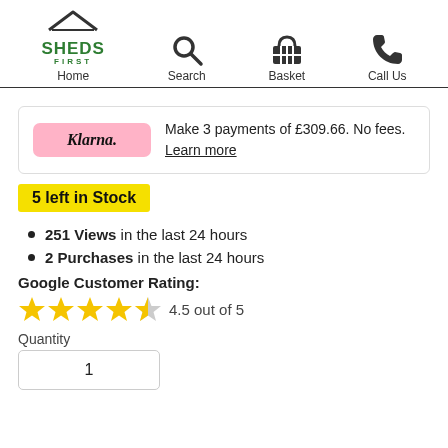SHEDS FIRST — Home | Search | Basket | Call Us
Make 3 payments of £309.66. No fees. Learn more
5 left in Stock
251 Views in the last 24 hours
2 Purchases in the last 24 hours
Google Customer Rating:
[Figure (other): 4.5 out of 5 stars rating with 4 full stars and 1 half star]
Quantity
1